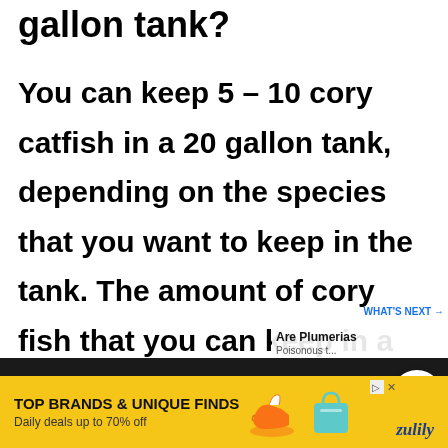gallon tank?
You can keep 5 – 10 cory catfish in a 20 gallon tank, depending on the species that you want to keep in the tank. The amount of cory fish that you can keep in a tank depends on the size of the cory fish. As the length of it varies based on species, the number
TOP BRANDS & UNIQUE FINDS
Daily deals up to 70% off